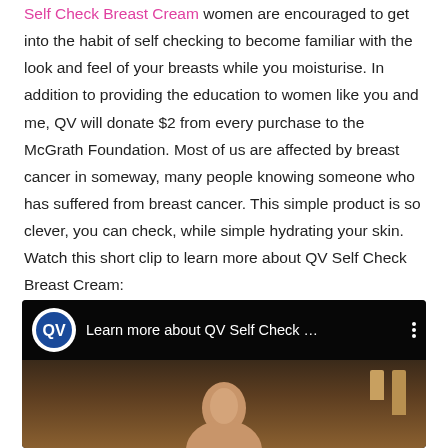Self Check Breast Cream women are encouraged to get into the habit of self checking to become familiar with the look and feel of your breasts while you moisturise. In addition to providing the education to women like you and me, QV will donate $2 from every purchase to the McGrath Foundation. Most of us are affected by breast cancer in someway, many people knowing someone who has suffered from breast cancer. This simple product is so clever, you can check, while simple hydrating your skin. Watch this short clip to learn more about QV Self Check Breast Cream:
[Figure (screenshot): Video thumbnail showing QV logo and title 'Learn more about QV Self Check ...' with a dark background and a person's face partially visible at the bottom]